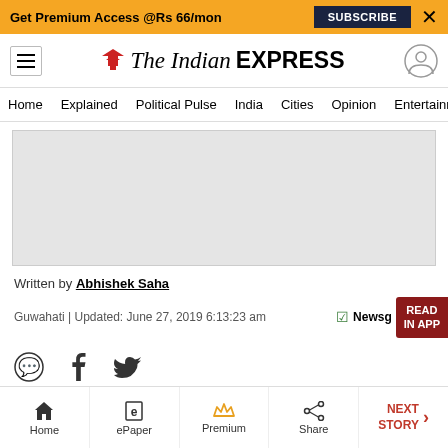Get Premium Access @Rs 66/mon | SUBSCRIBE | X
The Indian EXPRESS — Home | Explained | Political Pulse | India | Cities | Opinion | Entertainment
[Figure (other): Gray advertisement placeholder area]
Written by Abhishek Saha
Guwahati | Updated: June 27, 2019 6:13:23 am | NewsGuard | READ IN APP
[Figure (other): Social share icons: WhatsApp, Facebook, Twitter]
Home | ePaper | Premium | Share | NEXT STORY